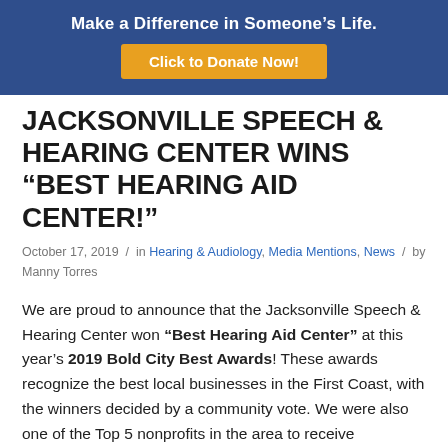Make a Difference in Someone's Life. Click to Donate Now!
JACKSONVILLE SPEECH & HEARING CENTER WINS “BEST HEARING AID CENTER!”
October 17, 2019 / in Hearing & Audiology, Media Mentions, News / by Manny Torres
We are proud to announce that the Jacksonville Speech & Hearing Center won “Best Hearing Aid Center” at this year’s 2019 Bold City Best Awards! These awards recognize the best local businesses in the First Coast, with the winners decided by a community vote. We were also one of the Top 5 nonprofits in the area to receive recognition in the “Best Local Nonprofit” category.
We are incredibly honored to receive this award from the community that we have served since 1949. This recognition would not have been possible without the